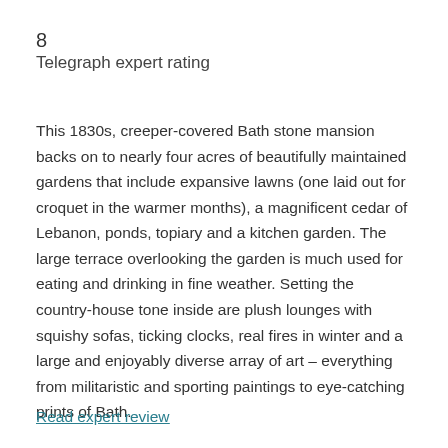8
Telegraph expert rating
This 1830s, creeper-covered Bath stone mansion backs on to nearly four acres of beautifully maintained gardens that include expansive lawns (one laid out for croquet in the warmer months), a magnificent cedar of Lebanon, ponds, topiary and a kitchen garden. The large terrace overlooking the garden is much used for eating and drinking in fine weather. Setting the country-house tone inside are plush lounges with squishy sofas, ticking clocks, real fires in winter and a large and enjoyably diverse array of art – everything from militaristic and sporting paintings to eye-catching prints of Bath.
Read expert review